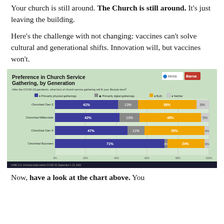Your church is still around. The Church is still around. It's just leaving the building.
Here's the challenge with not changing: vaccines can't solve cultural and generational shifts. Innovation will, but vaccines won't.
[Figure (stacked-bar-chart): Preference in Church Service Gathering, by Generation]
Now, have a look at the chart above. You